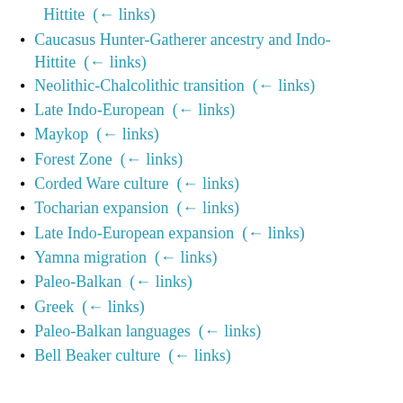Caucasus Hunter-Gatherer ancestry and Indo-Hittite  (← links)
Neolithic-Chalcolithic transition  (← links)
Late Indo-European  (← links)
Maykop  (← links)
Forest Zone  (← links)
Corded Ware culture  (← links)
Tocharian expansion  (← links)
Late Indo-European expansion  (← links)
Yamna migration  (← links)
Paleo-Balkan  (← links)
Greek  (← links)
Paleo-Balkan languages  (← links)
Bell Beaker culture  (← links)